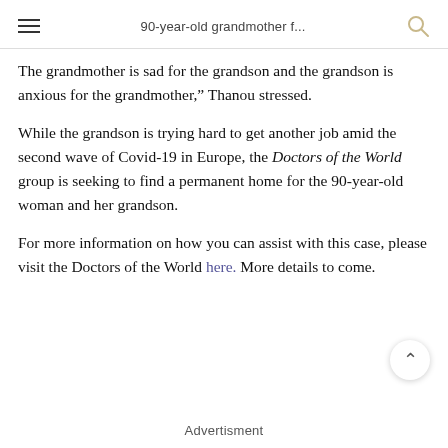90-year-old grandmother f...
The grandmother is sad for the grandson and the grandson is anxious for the grandmother," Thanou stressed.
While the grandson is trying hard to get another job amid the second wave of Covid-19 in Europe, the Doctors of the World group is seeking to find a permanent home for the 90-year-old woman and her grandson.
For more information on how you can assist with this case, please visit the Doctors of the World here. More details to come.
Advertisment